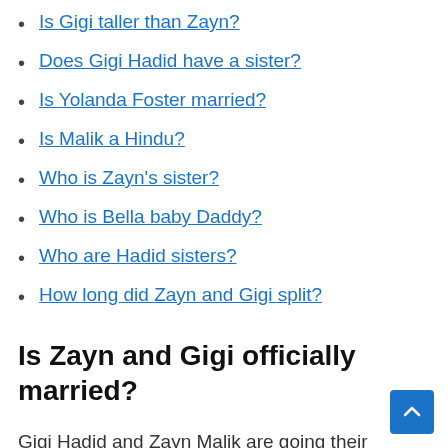Is Gigi taller than Zayn?
Does Gigi Hadid have a sister?
Is Yolanda Foster married?
Is Malik a Hindu?
Who is Zayn's sister?
Who is Bella baby Daddy?
Who are Hadid sisters?
How long did Zayn and Gigi split?
Is Zayn and Gigi officially married?
Gigi Hadid and Zayn Malik are going their separate ways. Multiple sources confirm exclusively to PEOPLE the supermodel, 26, and